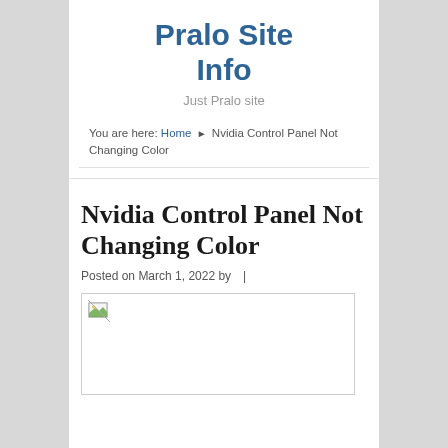Pralo Site Info
Just Pralo site
You are here: Home ▶ Nvidia Control Panel Not Changing Color
Nvidia Control Panel Not Changing Color
Posted on March 1, 2022 by  |
[Figure (photo): Broken image placeholder with small image icon in top-left corner]